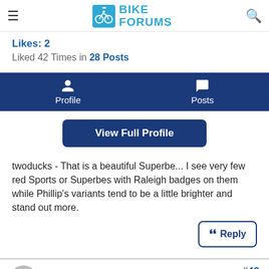Bike Forums
Likes: 2
Liked 42 Times in 28 Posts
Profile  Posts
View Full Profile
twoducks - That is a beautiful Superbe... I see very few red Sports or Superbes with Raleigh badges on them while Phillip's variants tend to be a little brighter and stand out more.
Reply
#42  twoducks , 02-23-10 12:15 PM  Senior Member